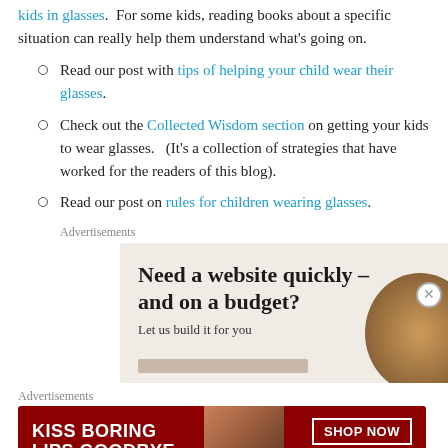kids in glasses.  For some kids, reading books about a specific situation can really help them understand what's going on.
Read our post with tips of helping your child wear their glasses.
Check out the Collected Wisdom section on getting your kids to wear glasses.   (It's a collection of strategies that have worked for the readers of this blog).
Read our post on rules for children wearing glasses.
Advertisements
[Figure (illustration): Advertisement: 'Need a website quickly – and on a budget? Let us build it for you' on a beige background with a woman's hair visible on the right side.]
Advertisements
[Figure (illustration): Macy's advertisement: 'KISS BORING LIPS GOODBYE' with a woman's face and red lips, SHOP NOW button and Macy's logo on dark red background.]